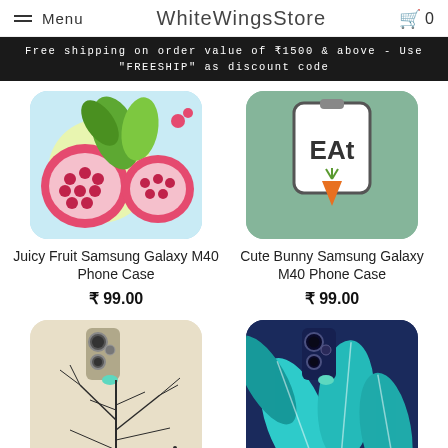Menu | WhiteWingsStore | 0
Free shipping on order value of ₹1500 & above - Use "FREESHIP" as discount code
[Figure (photo): Juicy Fruit phone case for Samsung Galaxy M40 - colorful pomegranate design on light blue background]
Juicy Fruit Samsung Galaxy M40 Phone Case
₹ 99.00
[Figure (photo): Cute Bunny phone case for Samsung Galaxy M40 - EAT text with carrot and bunny on mint/sage green background]
Cute Bunny Samsung Galaxy M40 Phone Case
₹ 99.00
[Figure (photo): Phone case with dark branches/twigs design on cream/beige background]
[Figure (photo): Phone case with tropical leaf design in teal and dark blue colors]